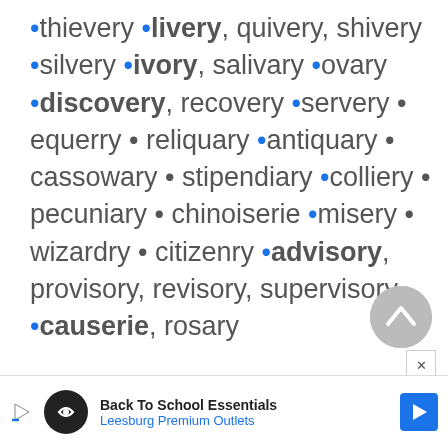•thievery •livery, quivery, shivery •silvery •ivory, salivary •ovary •discovery, recovery •servery • equerry • reliquary •antiquary • cassowary • stipendiary •colliery • pecuniary • chinoiserie •misery • wizardry • citizenry •advisory, provisory, revisory, supervisory •causerie, rosary
[Figure (other): Scroll-up circular button (grey circle with chevron up icon)]
[Figure (other): Close button with X]
[Figure (other): Advertisement banner: Back To School Essentials - Leesburg Premium Outlets]